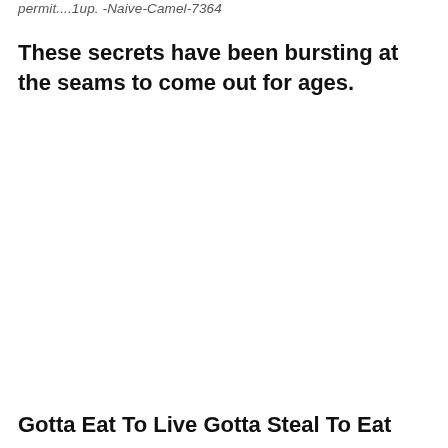permit....1up. -Naive-Camel-7364
These secrets have been bursting at the seams to come out for ages.
Gotta Eat To Live Gotta Steal To Eat